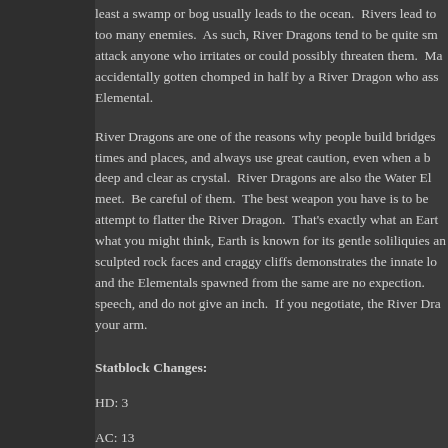least a swamp or bog usually leads to the ocean.  Rivers lead to too many enemies.  As such, River Dragons tend to be quite sm attack anyone who irritates or could possibly threaten them.  Ma accidentally gotten chomped in half by a River Dragon who ass Elemental.
River Dragons are one of the reasons why people build bridges times and places, and always use great caution, even when a b deep and clear as crystal.  River Dragons are also the Water El meet.  Be careful of them.  The best weapon you have is to be attempt to flatter the River Dragon.  That's exactly what an Eart what you might think, Earth is known for its gentle soliliquies an sculpted rock faces and craggy cliffs demonstrates the innate lo and the Elementals spawned from the same are no expection. speech, and do not give an inch.  If you negotiate, the River Dra your arm.
Statblock Changes:
HD: 3
AC: 13
Saves: 10 or less is a success